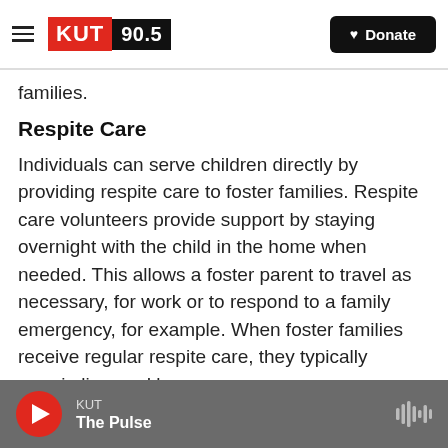KUT 90.5 | Donate
families.
Respite Care
Individuals can serve children directly by providing respite care to foster families. Respite care volunteers provide support by staying overnight with the child in the home when needed. This allows a foster parent to travel as necessary, for work or to respond to a family emergency, for example. When foster families receive regular respite care, they typically remain licensed longer.
Chil
KUT | The Pulse